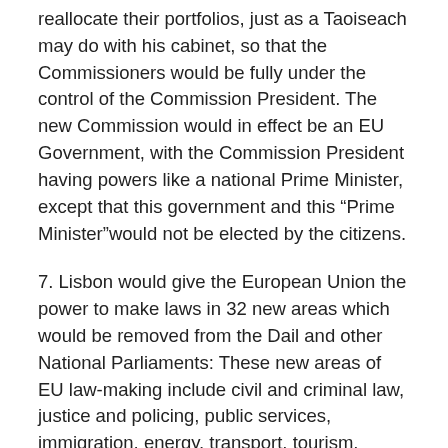reallocate their portfolios, just as a Taoiseach may do with his cabinet, so that the Commissioners would be fully under the control of the Commission President. The new Commission would in effect be an EU Government, with the Commission President having powers like a national Prime Minister, except that this government and this “Prime Minister”would not be elected by the citizens.
7. Lisbon would give the European Union the power to make laws in 32 new areas which would be removed from the Dail and other National Parliaments: These new areas of EU law-making include civil and criminal law, justice and policing, public services, immigration, energy, transport, tourism, space, sport, culture, civil protection, intellectual property, public health and the EU budget. There would be majority voting too by EU Foreign Ministers as regards implementational decisions in foreign policy (Art.31.2